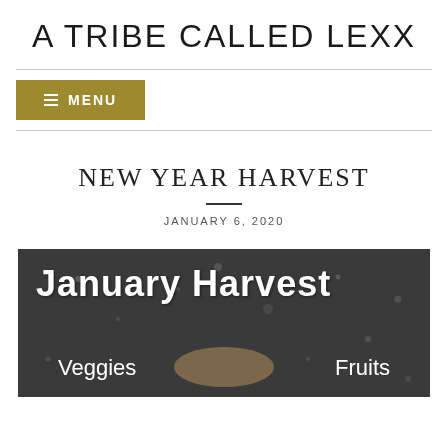A TRIBE CALLED LEXX
≡ MENU
NEW YEAR HARVEST
JANUARY 6, 2020
[Figure (illustration): Dark chalkboard-style image with handwritten text reading 'January Harvest' at the top, 'Veggies' on the left, 'Fruits' on the right, and a plate/bowl in the center with bokeh-style light dots in the background.]